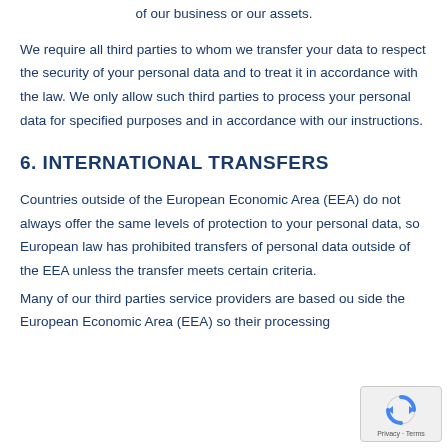of our business or our assets.
We require all third parties to whom we transfer your data to respect the security of your personal data and to treat it in accordance with the law. We only allow such third parties to process your personal data for specified purposes and in accordance with our instructions.
6. INTERNATIONAL TRANSFERS
Countries outside of the European Economic Area (EEA) do not always offer the same levels of protection to your personal data, so European law has prohibited transfers of personal data outside of the EEA unless the transfer meets certain criteria.
Many of our third parties service providers are based outside the European Economic Area (EEA) so their processing